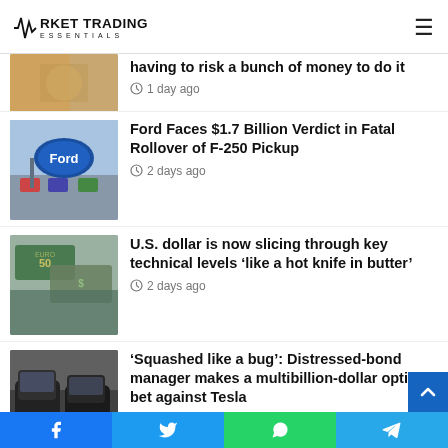MARKET TRADING ESSENTIALS
[Figure (photo): Partial news thumbnail visible at top - person with champagne]
having to risk a bunch of money to do it
1 day ago
[Figure (photo): Ford logo on a dealership sign with cars in the background]
Ford Faces $1.7 Billion Verdict in Fatal Rollover of F-250 Pickup
2 days ago
[Figure (photo): Euro and US dollar banknotes close-up]
U.S. dollar is now slicing through key technical levels ‘like a hot knife in butter’
2 days ago
[Figure (photo): Row of Tesla electric vehicles parked outdoors]
‘Squashed like a bug’: Distressed-bond manager makes a multibillion-dollar options bet against Tesla
2 days ago